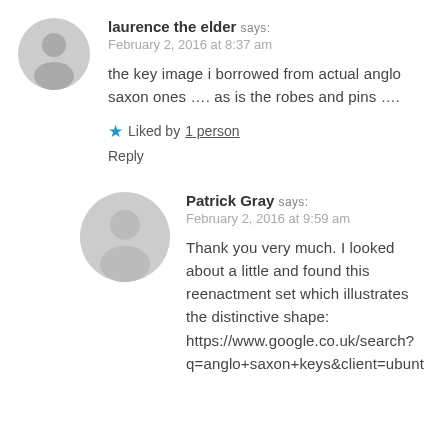laurence the elder says:
February 2, 2016 at 8:37 am
the key image i borrowed from actual anglo saxon ones …. as is the robes and pins ….
Liked by 1 person
Reply
Patrick Gray says:
February 2, 2016 at 9:59 am
Thank you very much. I looked about a little and found this reenactment set which illustrates the distinctive shape: https://www.google.co.uk/search?q=anglo+saxon+keys&client=ubunt